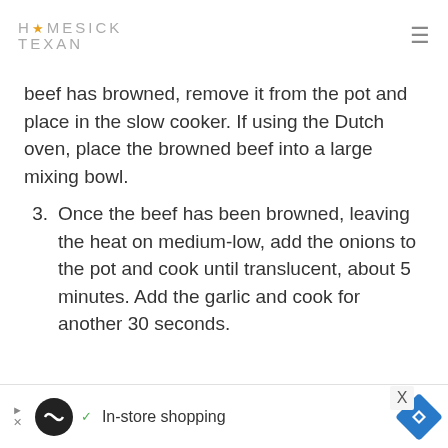HOMESICK TEXAN
beef has browned, remove it from the pot and place in the slow cooker. If using the Dutch oven, place the browned beef into a large mixing bowl.
3. Once the beef has been browned, leaving the heat on medium-low, add the onions to the pot and cook until translucent, about 5 minutes. Add the garlic and cook for another 30 seconds.